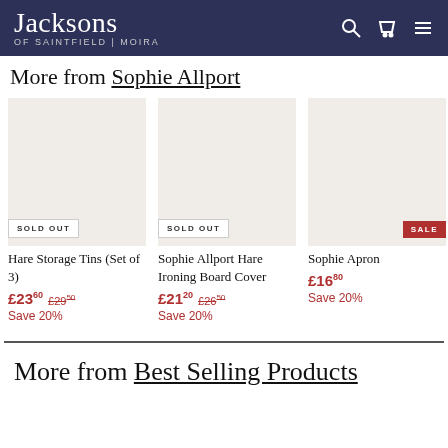Jacksons of Saintfield | Moira
More from Sophie Allport
[Figure (photo): Product image placeholder for Hare Storage Tins (Set of 3) with SOLD OUT badge]
Hare Storage Tins (Set of 3) £23.60 £29.50 Save 20%
[Figure (photo): Product image placeholder for Sophie Allport Hare Ironing Board Cover with SOLD OUT badge]
Sophie Allport Hare Ironing Board Cover £21.20 £26.50 Save 20%
[Figure (photo): Product image placeholder for Sophie Apron with SALE badge]
Sophie Apron £16.80 Save 20%
More from Best Selling Products